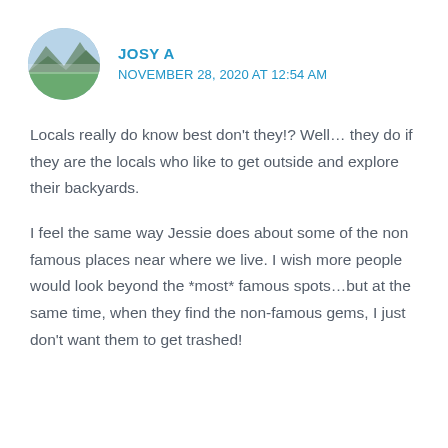JOSY A
NOVEMBER 28, 2020 AT 12:54 AM
Locals really do know best don't they!? Well… they do if they are the locals who like to get outside and explore their backyards.
I feel the same way Jessie does about some of the non famous places near where we live. I wish more people would look beyond the *most* famous spots…but at the same time, when they find the non-famous gems, I just don't want them to get trashed!